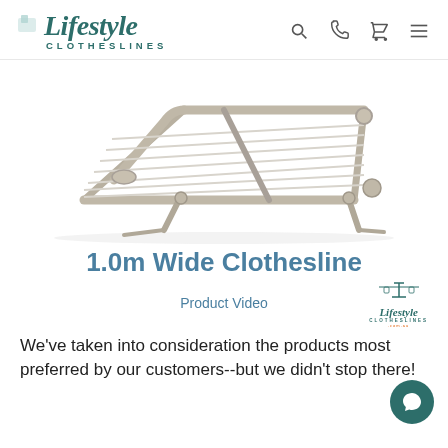Lifestyle Clotheslines
[Figure (photo): Wall-mounted fold-down clothesline rack in silver/beige, showing multiple parallel lines on a folding frame with support brackets, angled perspective view.]
1.0m Wide Clothesline
Product Video
[Figure (logo): Small Lifestyle Clotheslines logo with clothesline icon above text]
We've taken into consideration the products most preferred by our customers--but we didn't stop there!